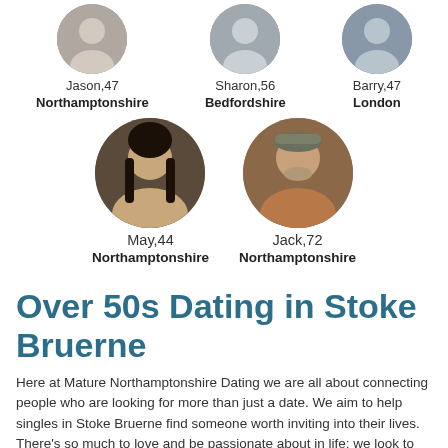[Figure (photo): Profile photo of Jason, 47 from Northamptonshire — circular avatar]
Jason,47
Northamptonshire
[Figure (photo): Profile photo of Sharon, 56 from Bedfordshire — circular avatar]
Sharon,56
Bedfordshire
[Figure (photo): Profile photo of Barry, 47 from London — circular avatar]
Barry,47
London
[Figure (photo): Profile photo of May, 44 from Northamptonshire — circular avatar]
May,44
Northamptonshire
[Figure (photo): Profile photo of Jack, 72 from Northamptonshire — circular avatar]
Jack,72
Northamptonshire
Over 50s Dating in Stoke Bruerne
Here at Mature Northamptonshire Dating we are all about connecting people who are looking for more than just a date. We aim to help singles in Stoke Bruerne find someone worth inviting into their lives. There’s so much to love and be passionate about in life; we look to make magical connections happen, so people can enjoy dating in Stoke Bruerne and find the partner worth sharing these passions with, and discover new ones together.